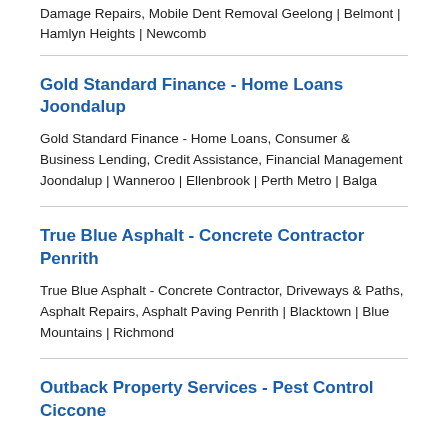Damage Repairs, Mobile Dent Removal Geelong | Belmont | Hamlyn Heights | Newcomb
Gold Standard Finance - Home Loans Joondalup
Gold Standard Finance - Home Loans, Consumer & Business Lending, Credit Assistance, Financial Management Joondalup | Wanneroo | Ellenbrook | Perth Metro | Balga
True Blue Asphalt - Concrete Contractor Penrith
True Blue Asphalt - Concrete Contractor, Driveways & Paths, Asphalt Repairs, Asphalt Paving Penrith | Blacktown | Blue Mountains | Richmond
Outback Property Services - Pest Control Ciccone